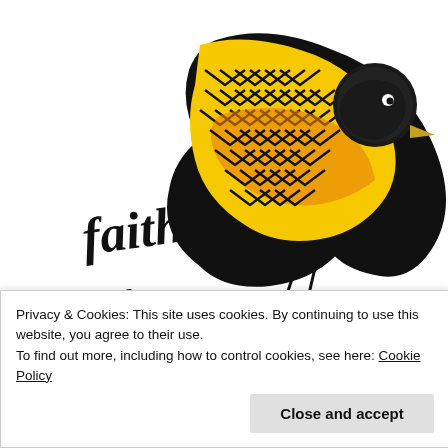[Figure (illustration): A decorative bird illustration with geometric chevron/zigzag patterns in yellow, orange, and red/black tones on its body. Below the bird is stylized calligraphy text reading 'faith is the b... fo...' (partially visible). The bird is shown perched, facing right, with a bold black outline.]
Privacy & Cookies: This site uses cookies. By continuing to use this website, you agree to their use.
To find out more, including how to control cookies, see here: Cookie Policy
Close and accept